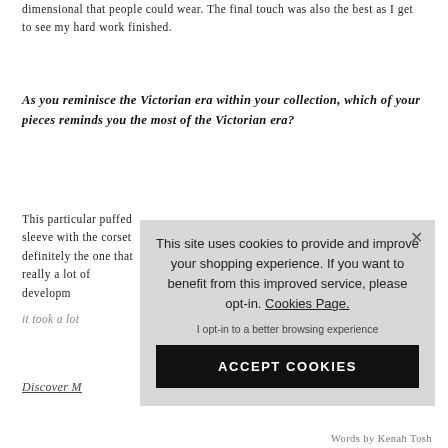dimensional that people could wear. The final touch was also the best as I get to see my hard work finished.
As you reminisce the Victorian era within your collection, which of your pieces reminds you the most of the Victorian era?
This particular puffed sleeve with the corset definitely the one that really a lot of developm
it took a lot
Discover M
[Figure (screenshot): Cookie consent popup overlay with message: This site uses cookies to provide and improve your shopping experience. If you want to benefit from this improved service, please opt-in. Cookies Page. With an opt-in link and ACCEPT COOKIES button.]
Words by Kenah Tosh